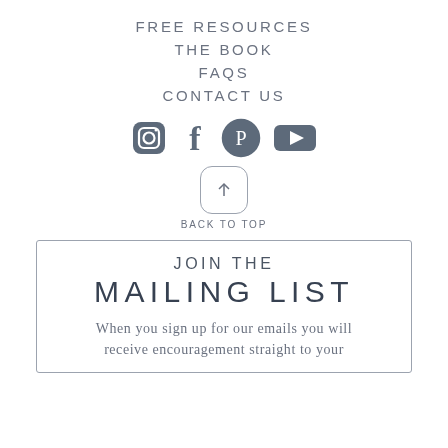FREE RESOURCES
THE BOOK
FAQS
CONTACT US
[Figure (infographic): Social media icons: Instagram, Facebook, Pinterest, YouTube in grey]
[Figure (infographic): Back to top button: rounded square with upward arrow and BACK TO TOP label]
JOIN THE MAILING LIST
When you sign up for our emails you will receive encouragement straight to your